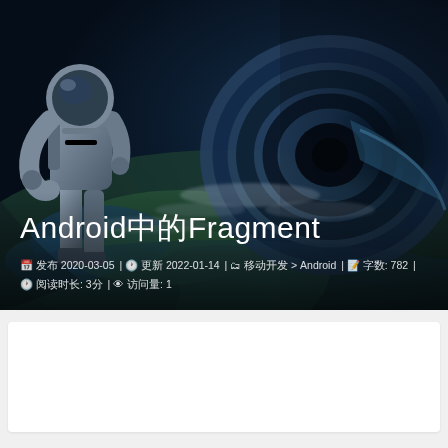[Figure (illustration): Hero header image showing an astronaut in a spacesuit on the left side, with a dramatic view of Earth from space and a dark vortex/wormhole on the right. Dark cinematic tone with blues, greens and dark grays.]
Android中的Fragment
发布 2020-03-05 | 更新 2022-01-14 | 分类 移动开发 > Android | 字数: 782 | 阅读时长: 3分 | 访问量: 1